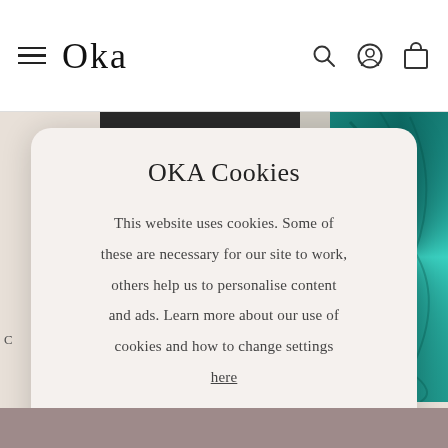OKA
OKA Cookies
This website uses cookies. Some of these are necessary for our site to work, others help us to personalise content and ads. Learn more about our use of cookies and how to change settings here
ACCEPT